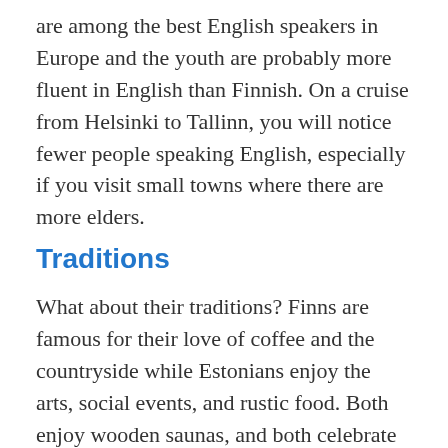are among the best English speakers in Europe and the youth are probably more fluent in English than Finnish. On a cruise from Helsinki to Tallinn, you will notice fewer people speaking English, especially if you visit small towns where there are more elders.
Traditions
What about their traditions? Finns are famous for their love of coffee and the countryside while Estonians enjoy the arts, social events, and rustic food. Both enjoy wooden saunas, and both celebrate the Christian holiday of Christmas along with pagan Yule time traditions including a Yule goat, mulled wine, and a feast. In case you're wondering: yes, it is possible to go on a cruise from Helsinki to Tallinn during the winter to revel in all the Christmas festivities!